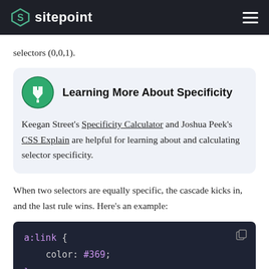sitepoint
selectors (0,0,1).
Learning More About Specificity
Keegan Street's Specificity Calculator and Joshua Peek's CSS Explain are helpful for learning about and calculating selector specificity.
When two selectors are equally specific, the cascade kicks in, and the last rule wins. Here's an example:
a:link {
    color: #369;
}